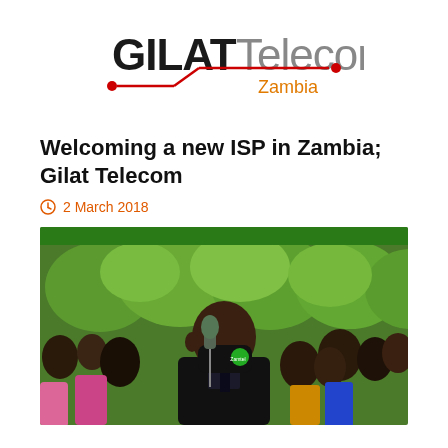[Figure (logo): Gilat Telecom Zambia logo — 'GILAT' in dark sans-serif bold, 'Telecom' in lighter gray, 'Zambia' in orange, with red circuit-line decoration]
Welcoming a new ISP in Zambia; Gilat Telecom
2 March 2018
[Figure (photo): A man wearing a black face mask with a green Zamtel logo badge, speaking at a microphone, surrounded by a crowd of people outdoors with green trees in the background]